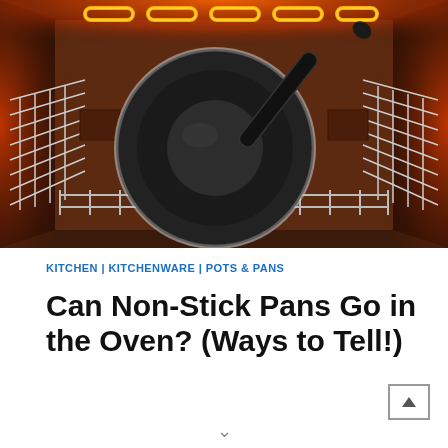[Figure (photo): A non-stick frying pan with a black handle inside a hot oven with glowing red heating elements at the top and wire oven racks visible.]
KITCHEN | KITCHENWARE | POTS & PANS
Can Non-Stick Pans Go in the Oven? (Ways to Tell!)